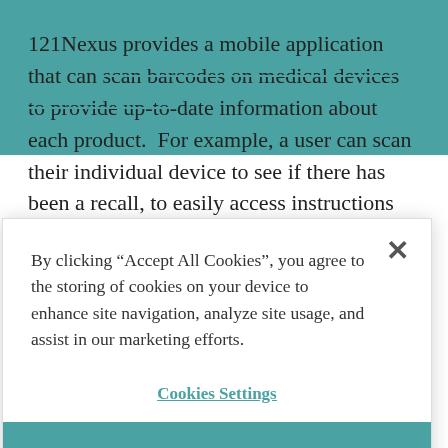121Nexus provides a mobile application that can scan barcodes on medical devices to provide up-to-date information about each product.  For example, a user can scan their individual device to see if there has been a recall, to easily access instructions for use, to find various safety and regulatory information, and more.  Manufacturers can use the
[Figure (screenshot): Cookie consent modal dialog with text: By clicking "Accept All Cookies", you agree to the storing of cookies on your device to enhance site navigation, analyze site usage, and assist in our marketing efforts. Contains a close (X) button, a 'Cookies Settings' link, a 'Reject All' button, and an 'Accept Cookies' button.]